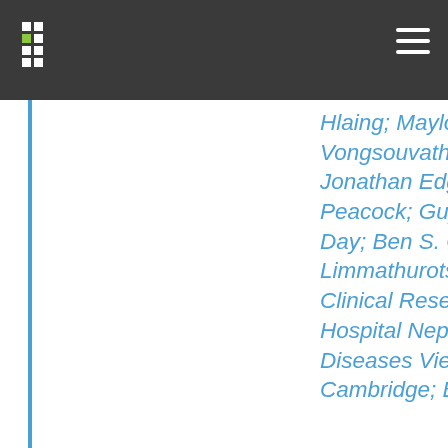Hlaing; Maylong Mayxay; Manivanh Vongsouvath; Buddha Basnyat; Jonathan Edgeworth; Sharon J. Peacock; Guy Thwaites; Nicholas Pj Day; Ben S. Cooper; Direk Limmathurotsakul; Oxford University Clinical Research Unit; Friends of Patan Hospital Nepal; Hospital for Tropical Diseases Vietnam; University of Cambridge; Brigham and